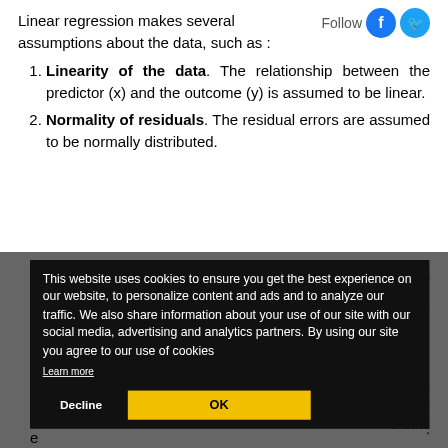Linear regression makes several assumptions about the data, such as :
Linearity of the data. The relationship between the predictor (x) and the outcome (y) is assumed to be linear.
Normality of residuals. The residual errors are assumed to be normally distributed.
s are city)
true.
s erms. : ble the
ecked sidual e
[Figure (screenshot): Cookie consent modal overlay with dark background. Text reads: 'This website uses cookies to ensure you get the best experience on our website, to personalize content and ads and to analyze our traffic. We also share information about your use of our site with our social media, advertising and analytics partners. By using our site you agree to our use of cookies'. A 'Learn more' underlined link is below the text. Two buttons: 'Decline' (dark/white text) and 'OK' (yellow background).]